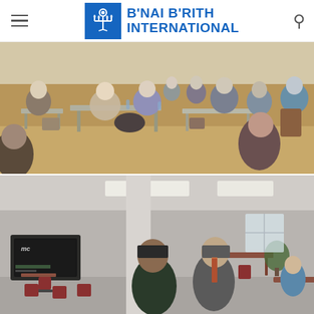B'NAI B'RITH INTERNATIONAL
[Figure (photo): Group of people seated around tables in a community room, engaged in conversation. Several elderly women and men are visible, some with water bottles on the tables.]
[Figure (photo): Two men standing and talking in a cafeteria or community center room. One man is wearing a dark green sweater, the other is in a suit with a tie. A TV screen is visible in the background.]